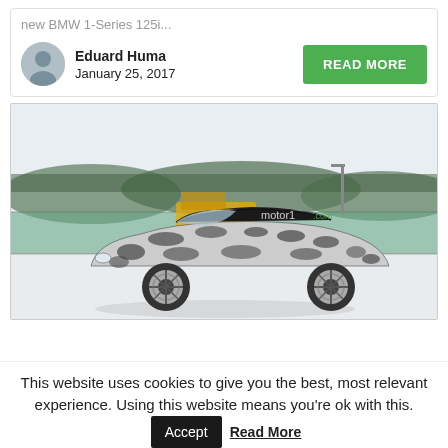new BMW 1-Series 125i...
Eduard Huma
January 25, 2017
READ MORE
[Figure (photo): BMW Z4 prototype in camouflage wrap photographed in winter/snow conditions, parked in front of a fence with trees and hills in the background. Watermark reads 'motor1.com'.]
This website uses cookies to give you the best, most relevant experience. Using this website means you're ok with this. Accept Read More